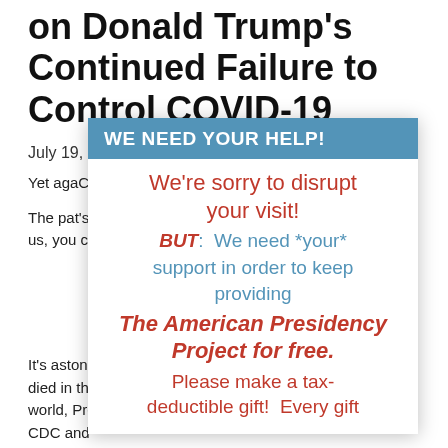on Donald Trump's Continued Failure to Control COVID-19
July 19,
Yet again ... CDC and the pub ... ponse to COV ... e talking
The pas ... t's Donald ... ut when it ... appear. He said ... aid the virus w ... us, you can
[Figure (other): Modal popup overlay with blue header 'WE NEED YOUR HELP!' and body text: We're sorry to disrupt your visit! BUT: We need *your* support in order to keep providing The American Presidency Project for free. Please make a tax-deductible gift! Every gift]
It's astonishing that even after 140,000 Americans have died in the worst COVID-19 outbreak in the developed world, President Trump continues his offensive against the CDC and